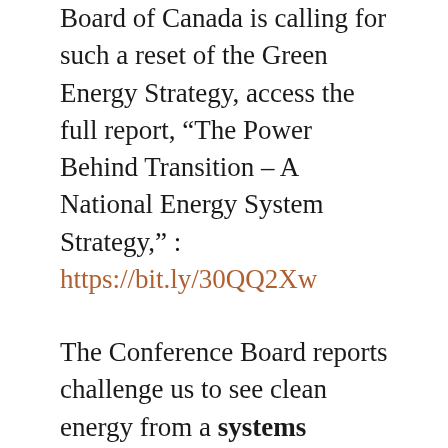Board of Canada is calling for such a reset of the Green Energy Strategy, access the full report, “The Power Behind Transition – A National Energy System Strategy,” : https://bit.ly/30QQ2Xw
The Conference Board reports challenge us to see clean energy from a systems perspective, one that includes a wide spectrum of active participants from energy producers through to us as energy consumers, sometimes energy workers, and hopefully, increasingly, citizens as energy conservers in how we lead our daily lives whether making choices about transportation to work, where to live, how to